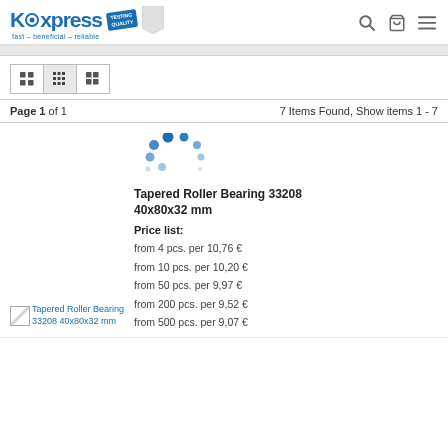KCxpress — fast – beneficial – reliable
Page 1 of 1    7 Items Found, Show items 1 - 7
[Figure (other): Loading spinner animation (blue dots in arc)]
Tapered Roller Bearing 33208 40x80x32 mm
Price list:
from 4 pcs. per 10,76 €
from 10 pcs. per 10,20 €
from 50 pcs. per 9,97 €
from 200 pcs. per 9,52 €
from 500 pcs. per 9,07 €
Tapered Roller Bearing 33208 40x80x32 mm